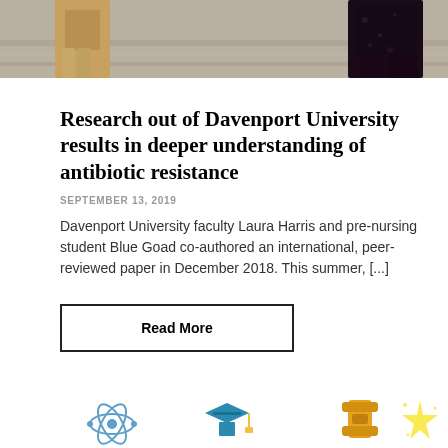[Figure (photo): Two people standing, partial view — one in tan/khaki clothing on left, one in dark floral dress on right, against a striped background floor]
Research out of Davenport University results in deeper understanding of antibiotic resistance
SEPTEMBER 13, 2019
Davenport University faculty Laura Harris and pre-nursing student Blue Goad co-authored an international, peer-reviewed paper in December 2018. This summer, [...]
Read More
[Figure (illustration): Row of small colorful icons at the bottom: atom/science icon, graduation cap icon, tools/wrench icon, sparkle/star icon]